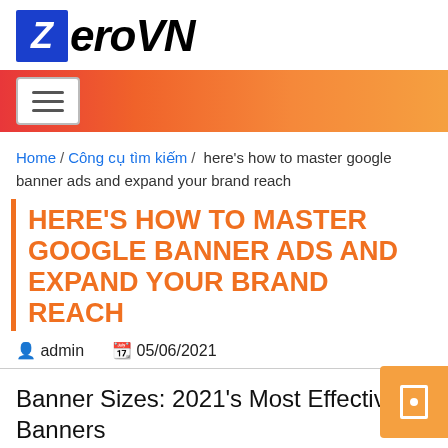ZeroVN
Home / Công cụ tìm kiếm / here's how to master google banner ads and expand your brand reach
HERE'S HOW TO MASTER GOOGLE BANNER ADS AND EXPAND YOUR BRAND REACH
admin   05/06/2021
Banner Sizes: 2021's Most Effective Banners